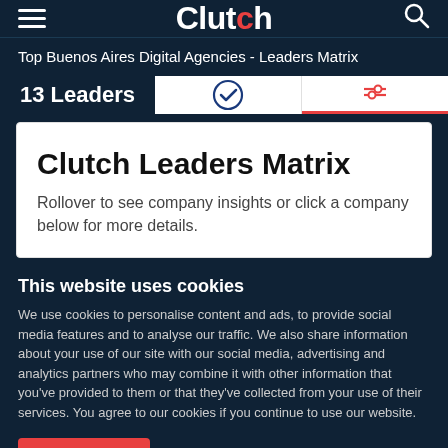Clutch
Top Buenos Aires Digital Agencies  - Leaders Matrix
13 Leaders
Clutch Leaders Matrix
Rollover to see company insights or click a company below for more details.
This website uses cookies
We use cookies to personalise content and ads, to provide social media features and to analyse our traffic. We also share information about your use of our site with our social media, advertising and analytics partners who may combine it with other information that you've provided to them or that they've collected from your use of their services. You agree to our cookies if you continue to use our website.
Close
Show details